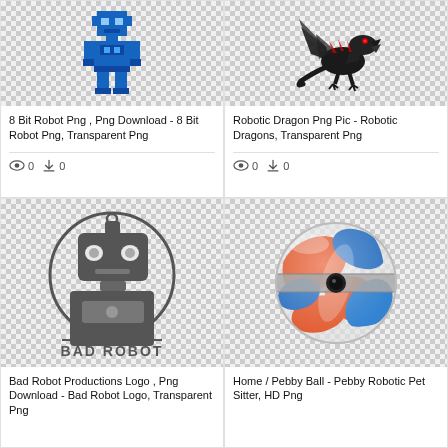[Figure (illustration): 8-bit pixel art blue robot on transparent/checker background]
8 Bit Robot Png , Png Download - 8 Bit Robot Png, Transparent Png
0  0
[Figure (illustration): Robotic dragon on transparent/checker background]
Robotic Dragon Png Pic - Robotic Dragons, Transparent Png
0  0
[Figure (logo): Bad Robot Productions logo - circle with robot head and BAD ROBOT text below]
Bad Robot Productions Logo , Png Download - Bad Robot Logo, Transparent Png
[Figure (photo): Pebby Ball - orange and blue swirled robotic pet sitter ball on checker background]
Home / Pebby Ball - Pebby Robotic Pet Sitter, HD Png